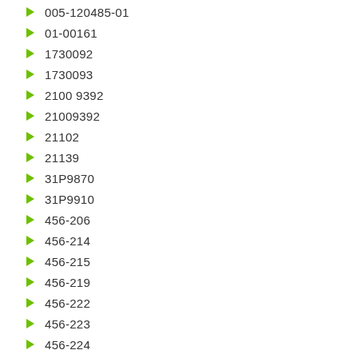005-120485-01
01-00161
1730092
1730093
2100 9392
21009392
21102
21139
31P9870
31P9910
456-206
456-214
456-215
456-219
456-222
456-223
456-224